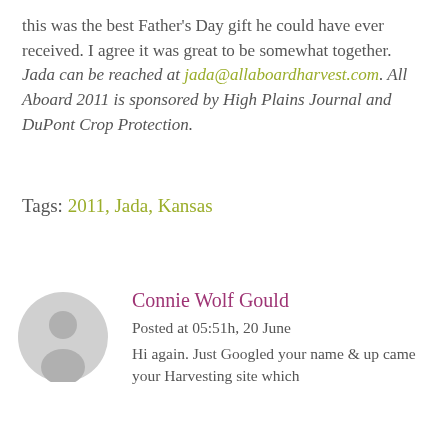this was the best Father's Day gift he could have ever received. I agree it was great to be somewhat together. Jada can be reached at jada@allaboardharvest.com. All Aboard 2011 is sponsored by High Plains Journal and DuPont Crop Protection.
Tags: 2011, Jada, Kansas
[Figure (illustration): Generic user avatar: grey silhouette of a person's head and shoulders on a light grey circular background]
Connie Wolf Gould
Posted at 05:51h, 20 June
Hi again. Just Googled your name & up came your Harvesting site which